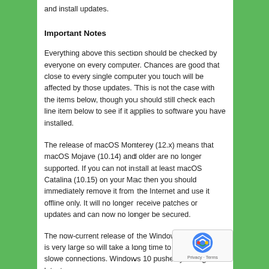and install updates.
Important Notes
Everything above this section should be checked by everyone on every computer. Chances are good that close to every single computer you touch will be affected by those updates. This is not the case with the items below, though you should still check each line item below to see if it applies to software you have installed.
The release of macOS Monterey (12.x) means that macOS Mojave (10.14) and older are no longer supported. If you can not install at least macOS Catalina (10.15) on your Mac then you should immediately remove it from the Internet and use it offline only. It will no longer receive patches or updates and can now no longer be secured.
The now-current release of the Windows 10 (v21H2) is very large so will take a long time to download on slower connections. Windows 10 pushes you to get the latest